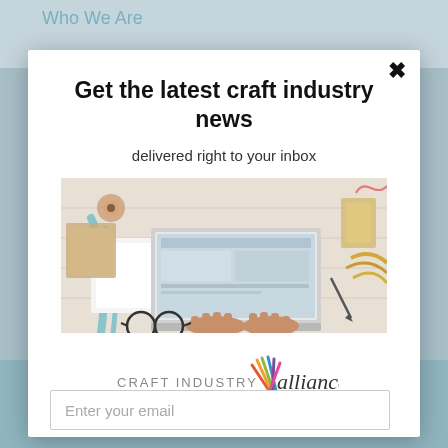Who We Are
Get the latest craft industry news
delivered right to your inbox
[Figure (photo): Overhead view of person typing on a laptop surrounded by craft supplies, ribbon, scissors, notebooks, and kraft paper on a white surface]
[Figure (logo): Craft Industry Alliance logo with colorful pencil/brush icon and text 'CRAFT INDUSTRY alliance']
Enter your email